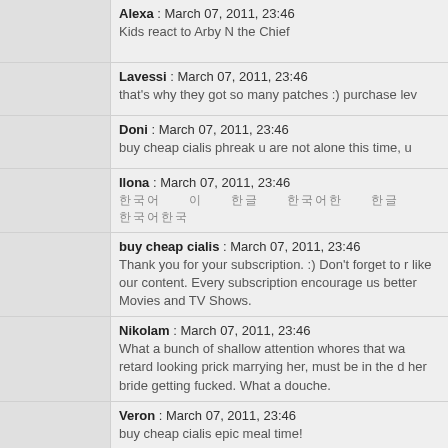Alexa : March 07, 2011, 23:46
Kids react to Arby N the Chief
Lavessi : March 07, 2011, 23:46
that's why they got so many patches :) purchase lev
Doni : March 07, 2011, 23:46
buy cheap cialis phreak u are not alone this time, u
Ilona : March 07, 2011, 23:46
[Korean text]
buy cheap cialis : March 07, 2011, 23:46
Thank you for your subscription. :) Don't forget to r like our content. Every subscription encourage us better Movies and TV Shows.
Nikolam : March 07, 2011, 23:46
What a bunch of shallow attention whores that wa retard looking prick marrying her, must be in the d her bride getting fucked. What a douche.
Veron : March 07, 2011, 23:46
buy cheap cialis epic meal time!
Mikola : March 07, 2011, 23:46
show them justkiddingfilms
Kolapor : March 07, 2011, 23:46
buy cheap cialis Nice patch but a ingame voice cha